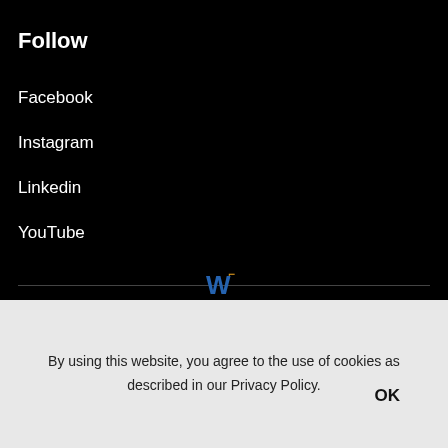Follow
Facebook
Instagram
Linkedin
YouTube
[Figure (logo): W logo with orange corner mark]
[Figure (infographic): Social media icons: Facebook, Instagram, LinkedIn, YouTube]
By using this website, you agree to the use of cookies as described in our Privacy Policy.
OK